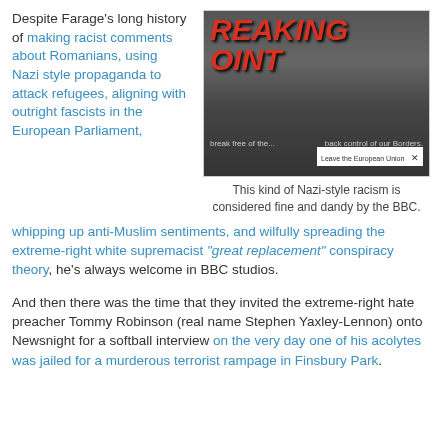Despite Farage's long history of making racist comments about Romanians, using Nazi style propaganda to attack refugees, aligning with outright fascists in the European Parliament, whipping up anti-Muslim sentiments, and wilfully spreading the extreme-right white supremacist "great replacement" conspiracy theory, he's always welcome in BBC studios.
[Figure (photo): Newspaper front page or campaign poster showing a crowd of people with large red text reading 'REAKING POINT' and a man standing in front. Text at bottom reads 'break free of the... back control of our Borders. Leave the European Union']
This kind of Nazi-style racism is considered fine and dandy by the BBC.
And then there was the time that they invited the extreme-right hate preacher Tommy Robinson (real name Stephen Yaxley-Lennon) onto Newsnight for a softball interview on the very day one of his acolytes was jailed for a murderous terrorist rampage in Finsbury Park.